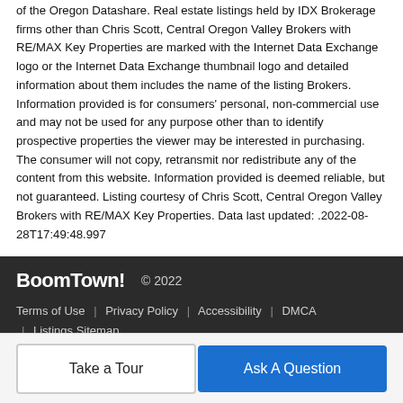of the Oregon Datashare. Real estate listings held by IDX Brokerage firms other than Chris Scott, Central Oregon Valley Brokers with RE/MAX Key Properties are marked with the Internet Data Exchange logo or the Internet Data Exchange thumbnail logo and detailed information about them includes the name of the listing Brokers. Information provided is for consumers' personal, non-commercial use and may not be used for any purpose other than to identify prospective properties the viewer may be interested in purchasing. The consumer will not copy, retransmit nor redistribute any of the content from this website. Information provided is deemed reliable, but not guaranteed. Listing courtesy of Chris Scott, Central Oregon Valley Brokers with RE/MAX Key Properties. Data last updated: .2022-08-28T17:49:48.997
BoomTown! © 2022 | Terms of Use | Privacy Policy | Accessibility | DMCA | Listings Sitemap
Take a Tour
Ask A Question